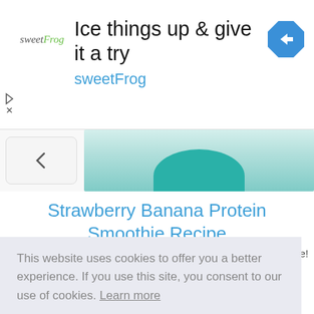[Figure (screenshot): SweetFrog advertisement banner with logo, headline 'Ice things up & give it a try', brand name 'sweetFrog', and blue diamond arrow icon]
[Figure (photo): Partial image of a teal/green smoothie bowl on a white surface]
Strawberry Banana Protein Smoothie Recipe
Make your workouts count with this easy post-work- e!
This website uses cookies to offer you a better experience. If you use this site, you consent to our use of cookies. Learn more
I Agree